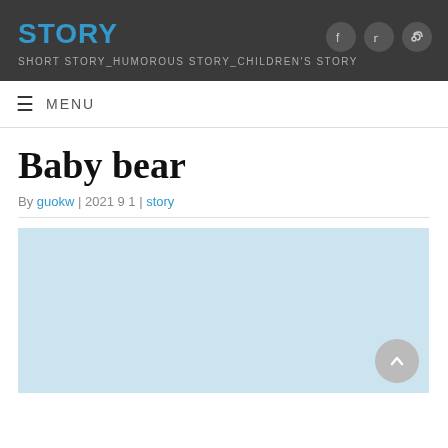STORY
SHORT STORY_HUMOROUS STORY_CHILDREN'S STORY
≡  MENU
Baby bear
By guokw | 2021 9 1 | story
[Figure (other): Light blue advertisement placeholder area with a scroll-to-top button (grey circle with upward chevron) in the bottom right corner]